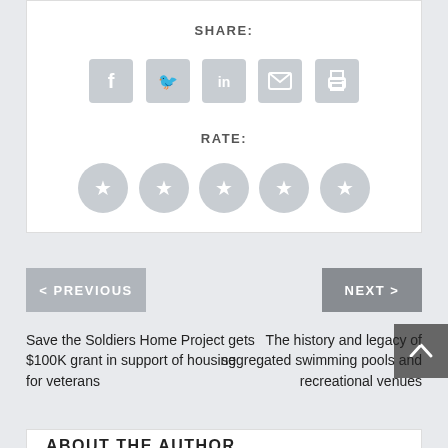SHARE:
[Figure (infographic): Social share buttons: Facebook, Twitter, LinkedIn, Email, Print icons in gray rounded squares]
RATE:
[Figure (infographic): Five gray star rating circles]
< PREVIOUS
NEXT >
Save the Soldiers Home Project gets $100K grant in support of housing for veterans
The history and legacy of segregated swimming pools and recreational venues
ABOUT THE AUTHOR